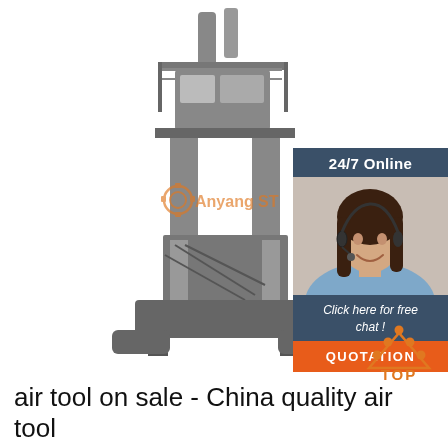[Figure (photo): Black and white photo of a large industrial air forging hammer / machinery with tall tower structure, scaffolding, and heavy base. Anyang ST watermark logo overlaid in center.]
[Figure (infographic): Chat widget overlay in top-right: dark blue header reading '24/7 Online', photo of smiling woman with headset, dark blue box reading 'Click here for free chat!', orange button reading 'QUOTATION']
[Figure (logo): Orange TOP icon with dot pattern above text 'TOP' in bottom-right area]
air tool on sale - China quality air tool